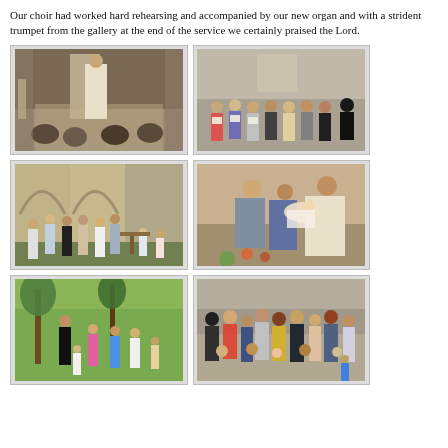Our choir had worked hard rehearsing and accompanied by our new organ and with a strident trumpet from the gallery at the end of the service we certainly praised the Lord.
[Figure (photo): Church service scene with priest in white robe presiding over congregation, interior of stone church]
[Figure (photo): Choir and congregation standing in church, people holding song books, conductor visible]
[Figure (photo): Group of families with children gathered outdoors near stone church arches, baptismal font visible]
[Figure (photo): Close-up of baptism ceremony, priest holding infant, family gathered around]
[Figure (photo): Children and adults outdoors in garden with trees, children in colourful clothes]
[Figure (photo): Large crowd of people gathered outdoors, social gathering after church service]